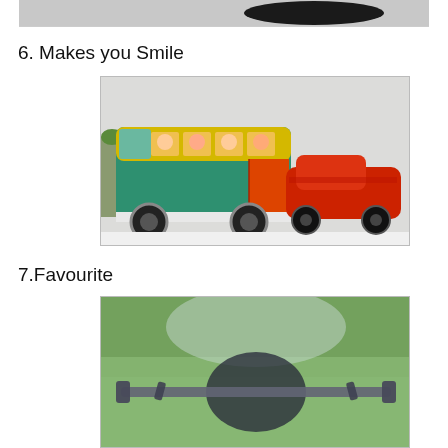[Figure (photo): Bottom portion of a photo showing a dark curved object against a light background, partially cropped]
6. Makes you Smile
[Figure (photo): Two toy vehicles: a green and yellow VW bus with colorful figures visible through windows, and a red toy car decorated with various patterns, sitting on a white surface with a plant in the background]
7.Favourite
[Figure (photo): A blurry photo of bicycle handlebars with a green wooded background, taken from rider's perspective]